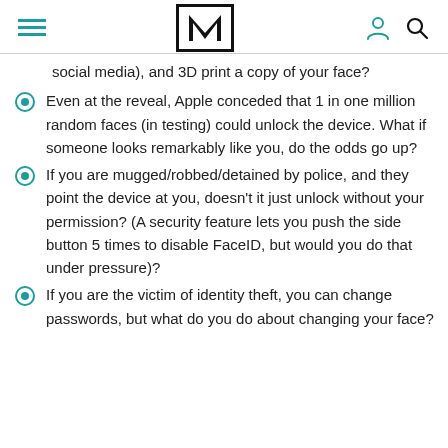M logo with hamburger menu, user icon, and search icon
social media), and 3D print a copy of your face?
Even at the reveal, Apple conceded that 1 in one million random faces (in testing) could unlock the device. What if someone looks remarkably like you, do the odds go up?
If you are mugged/robbed/detained by police, and they point the device at you, doesn't it just unlock without your permission? (A security feature lets you push the side button 5 times to disable FaceID, but would you do that under pressure)?
If you are the victim of identity theft, you can change passwords, but what do you do about changing your face?